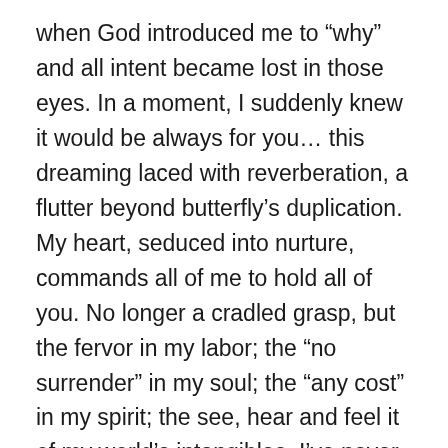when God introduced me to “why” and all intent became lost in those eyes. In a moment, I suddenly knew it would be always for you… this dreaming laced with reverberation, a flutter beyond butterfly’s duplication. My heart, seduced into nurture, commands all of me to hold all of you. No longer a cradled grasp, but the fervor in my labor; the “no surrender” in my soul; the “any cost” in my spirit; the see, hear and feel it of my world’s intangibles. I’ve never been so expandable and limited, at once. I’m just a girl, but, for you, super-human fits the bill, so